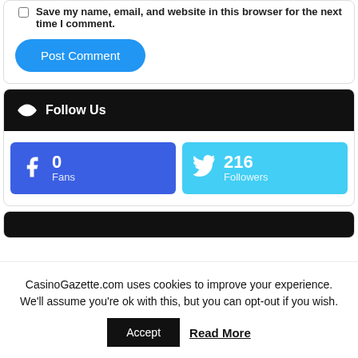Save my name, email, and website in this browser for the next time I comment.
Post Comment
Follow Us
0 Fans
216 Followers
CasinoGazette.com uses cookies to improve your experience. We'll assume you're ok with this, but you can opt-out if you wish.
Accept
Read More